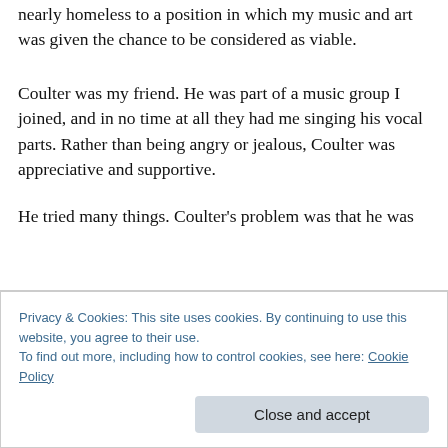nearly homeless to a position in which my music and art was given the chance to be considered as viable.
Coulter was my friend. He was part of a music group I joined, and in no time at all they had me singing his vocal parts. Rather than being angry or jealous, Coulter was appreciative and supportive.
He tried many things. Coulter's problem was that he was
Privacy & Cookies: This site uses cookies. By continuing to use this website, you agree to their use.
To find out more, including how to control cookies, see here: Cookie Policy
Close and accept